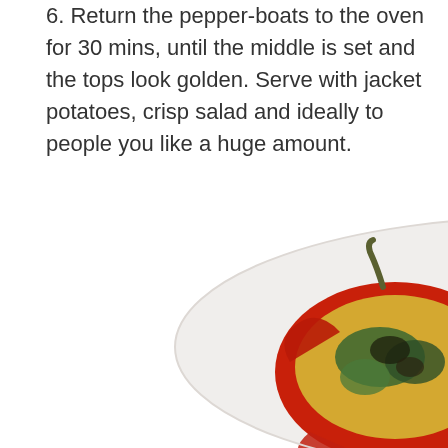6. Return the pepper-boats to the oven for 30 mins, until the middle is set and the tops look golden. Serve with jacket potatoes, crisp salad and ideally to people you like a huge amount.
[Figure (photo): Two baked red pepper halves filled with a golden egg and green herb mixture, served on a white plate, photographed from above at a slight angle.]